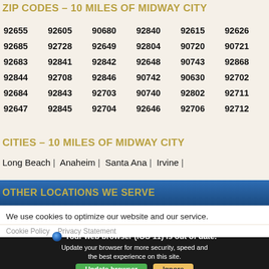ZIP CODES – 10 MILES OF MIDWAY CITY
| 92655 | 92605 | 90680 | 92840 | 92615 | 92626 |
| 92685 | 92728 | 92649 | 92804 | 90720 | 90721 |
| 92683 | 92841 | 92842 | 92648 | 90743 | 92868 |
| 92844 | 92708 | 92846 | 90742 | 90630 | 92702 |
| 92684 | 92843 | 92703 | 90740 | 92802 | 92711 |
| 92647 | 92845 | 92704 | 92646 | 92706 | 92712 |
CITIES – 10 MILES OF MIDWAY CITY
Long Beach | Anaheim | Santa Ana | Irvine |
OTHER LOCATIONS WE SERVE
We use cookies to optimize our website and our service.
Cookie Policy   Privacy Statement
Your web browser (iOS 11) is out of date. Update your browser for more security, speed and the best experience on this site.